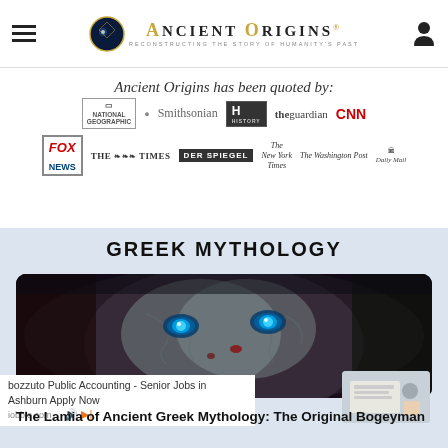Ancient Origins – Reconstructing the Story of Humanity's Past
Ancient Origins has been quoted by:
[Figure (logo): Media logos: National Geographic, Smithsonian, History Channel, The Guardian, CNN, Fox News, The Times, Der Spiegel, The New York Times, The Washington Post, Daily Mail]
GREEK MYTHOLOGY
[Figure (photo): Dark close-up image of a creature with blue glowing eyes and grey skin – likely a depiction of Lamia from Greek mythology]
bozzuto Public Accounting - Senior Jobs in Ashburn Apply Now
iobble.com
The Lamia of Ancient Greek Mythology: The Original Bogeyman